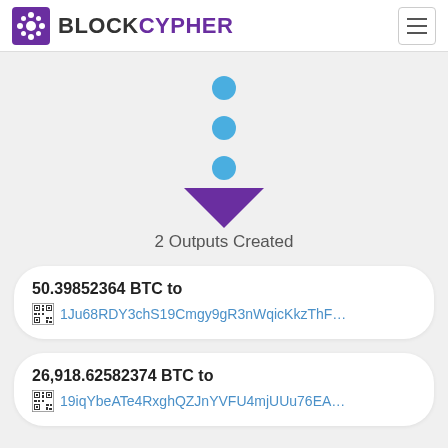BLOCKCYPHER
[Figure (infographic): Three blue dots arranged vertically followed by a downward-pointing purple triangle arrow, indicating data flow. Below reads '2 Outputs Created'.]
2 Outputs Created
50.39852364 BTC to 1Ju68RDY3chS19Cmgy9gR3nWqicKkzThF…
26,918.62582374 BTC to 19iqYbeATe4RxghQZJnYVFU4mjUUu76EA…